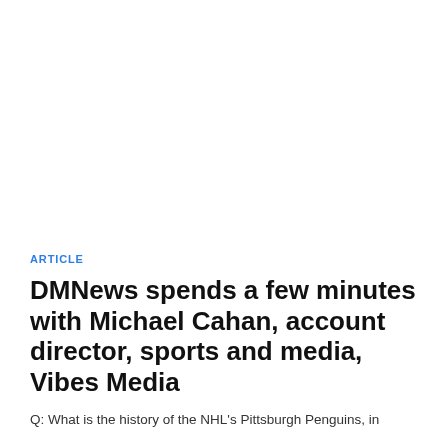ARTICLE
DMNews spends a few minutes with Michael Cahan, account director, sports and media, Vibes Media
Q: What is the history of the NHL's Pittsburgh Penguins, in